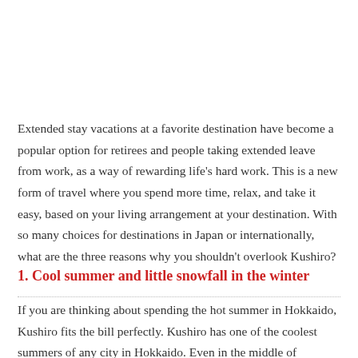Extended stay vacations at a favorite destination have become a popular option for retirees and people taking extended leave from work, as a way of rewarding life's hard work. This is a new form of travel where you spend more time, relax, and take it easy, based on your living arrangement at your destination. With so many choices for destinations in Japan or internationally, what are the three reasons why you shouldn't overlook Kushiro?
1. Cool summer and little snowfall in the winter
If you are thinking about spending the hot summer in Hokkaido, Kushiro fits the bill perfectly. Kushiro has one of the coolest summers of any city in Hokkaido. Even in the middle of summer, the daytime high temperature averages 21.4 degrees Celsius, so a thin cardigan is all you ne